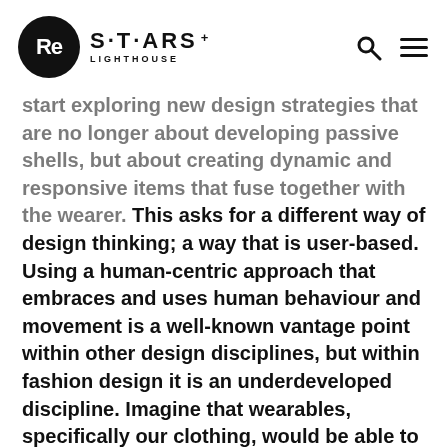Re S·T·ARS+ LIGHTHOUSE
start exploring new design strategies that are no longer about developing passive shells, but about creating dynamic and responsive items that fuse together with the wearer. This asks for a different way of design thinking; a way that is user-based. Using a human-centric approach that embraces and uses human behaviour and movement is a well-known vantage point within other design disciplines, but within fashion design it is an underdeveloped discipline. Imagine that wearables, specifically our clothing, would be able to become a second skin that fluently communicates and transforms with us. An extra skin that adapts to internal signals and body language, as well as to external factors from